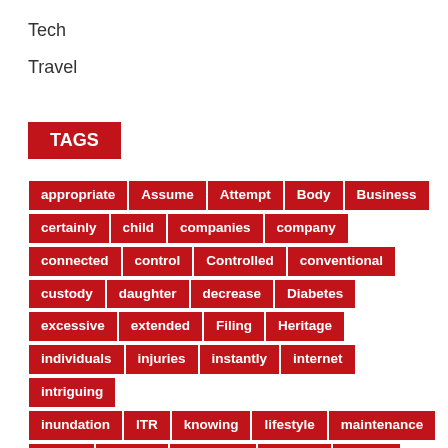Tech
Travel
TAGS
appropriate Assume Attempt Body Business certainly child companies company connected control Controlled conventional custody daughter decrease Diabetes excessive extended Filing Heritage individuals injuries instantly internet intriguing inundation ITR knowing lifestyle maintenance Nanny notable operating Prevent proper properly Recommendations servicing sleep